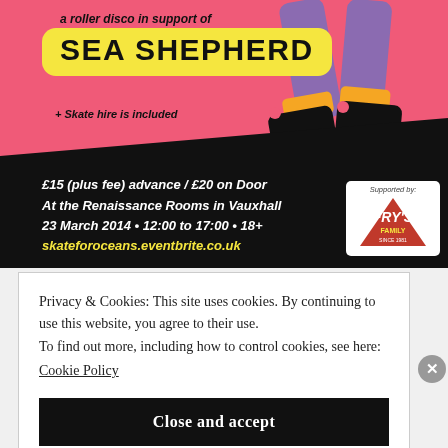[Figure (illustration): Roller disco event poster for Sea Shepherd. Pink and black background with roller skate illustration. Yellow box with 'SEA SHEPHERD' in bold black text. Text reads: 'a roller disco in support of', '+ Skate hire is included', '£15 (plus fee) advance / £20 on Door', 'At the Renaissance Rooms in Vauxhall', '23 March 2014 • 12:00 to 17:00 • 18+', 'skateforoceans.eventbrite.co.uk'. Supported by Fry's Family logo shown in bottom right.]
Privacy & Cookies: This site uses cookies. By continuing to use this website, you agree to their use.
To find out more, including how to control cookies, see here:
Cookie Policy
Close and accept